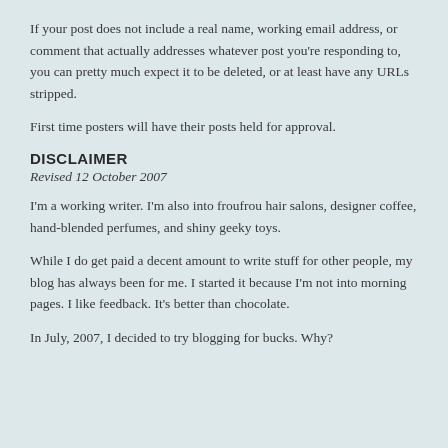If your post does not include a real name, working email address, or comment that actually addresses whatever post you're responding to, you can pretty much expect it to be deleted, or at least have any URLs stripped.
First time posters will have their posts held for approval.
DISCLAIMER
Revised 12 October 2007
I'm a working writer. I'm also into froufrou hair salons, designer coffee, hand-blended perfumes, and shiny geeky toys.
While I do get paid a decent amount to write stuff for other people, my blog has always been for me. I started it because I'm not into morning pages. I like feedback. It's better than chocolate.
In July, 2007, I decided to try blogging for bucks. Why?